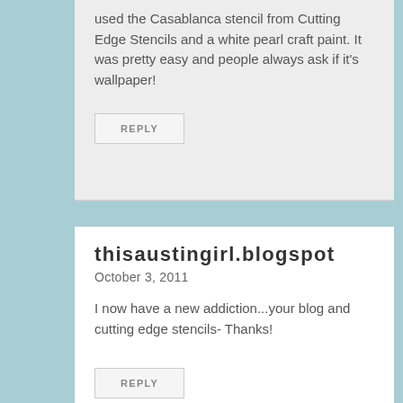used the Casablanca stencil from Cutting Edge Stencils and a white pearl craft paint. It was pretty easy and people always ask if it's wallpaper!
REPLY
thisaustingirl.blogspot
October 3, 2011
I now have a new addiction...your blog and cutting edge stencils- Thanks!
REPLY